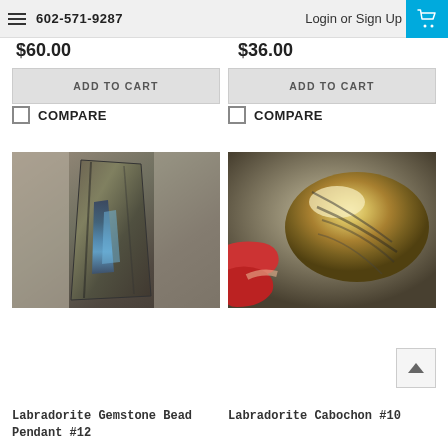602-571-9287   Login or Sign Up
$60.00
$36.00
ADD TO CART
ADD TO CART
COMPARE
COMPARE
[Figure (photo): Labradorite gemstone bead pendant slab with blue-green labradorescence, rectangular shape on gray background]
[Figure (photo): Labradorite cabochon oval stone with golden/green chatoyance, held between red-painted fingernails]
Labradorite Gemstone Bead Pendant #12
Labradorite Cabochon #10